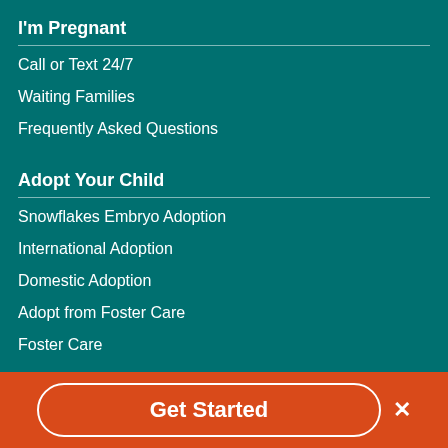I'm Pregnant
Call or Text 24/7
Waiting Families
Frequently Asked Questions
Adopt Your Child
Snowflakes Embryo Adoption
International Adoption
Domestic Adoption
Adopt from Foster Care
Foster Care
Adoption Re[partially visible]
Get Started